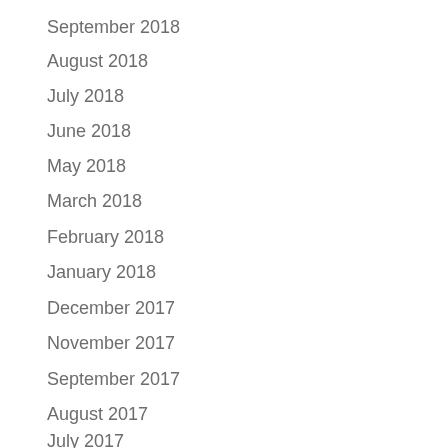September 2018
August 2018
July 2018
June 2018
May 2018
March 2018
February 2018
January 2018
December 2017
November 2017
September 2017
August 2017
July 2017